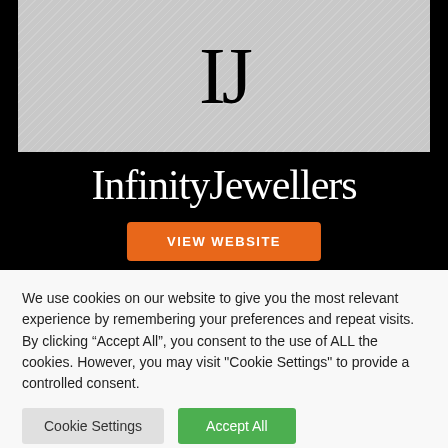[Figure (logo): Infinity Jewellers logo: silver brushed metal background with large black 'IJ' monogram letters on top portion, 'InfinityJewellers' in white serif font on black background below]
VIEW WEBSITE
We use cookies on our website to give you the most relevant experience by remembering your preferences and repeat visits. By clicking "Accept All", you consent to the use of ALL the cookies. However, you may visit "Cookie Settings" to provide a controlled consent.
Cookie Settings
Accept All